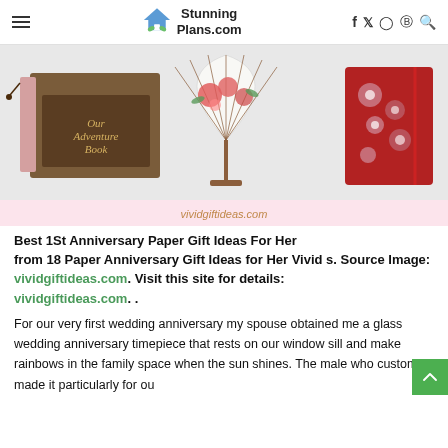StunningPlans.com
[Figure (photo): Collage of three product images: a scrapbook labeled 'Our Adventure Book', a decorative Chinese hand fan with floral design on a stand, and a red floral journal/notebook.]
vividgiftideas.com
Best 1St Anniversary Paper Gift Ideas For Her from 18 Paper Anniversary Gift Ideas for Her Vivid s. Source Image: vividgiftideas.com. Visit this site for details: vividgiftideas.com. .
For our very first wedding anniversary my spouse obtained me a glass wedding anniversary timepiece that rests on our window sill and make rainbows in the family space when the sun shines. The male who custom made it particularly for ou